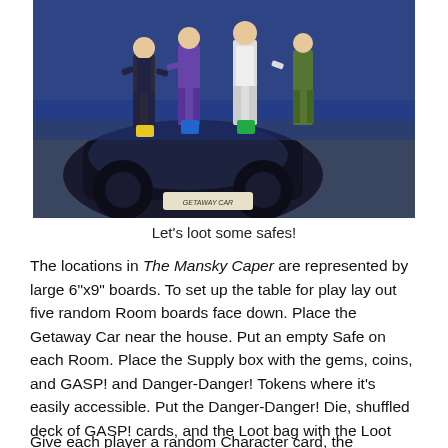[Figure (photo): Photo of board game components: character standees (paper cutouts of people in various outfits) standing on a game board that shows a car labeled 'GETAWAY CAR', with colored token holders (yellow, blue, green) at their bases.]
Let's loot some safes!
The locations in The Mansky Caper are represented by large 6"x9" boards. To set up the table for play lay out five random Room boards face down. Place the Getaway Car near the house. Put an empty Safe on each Room. Place the Supply box with the gems, coins, and GASP! and Danger-Danger! Tokens where it's easily accessible. Put the Danger-Danger! Die, shuffled deck of GASP! cards, and the Loot bag with the Loot Tokens near the supply box.
Give each player a random Character card, the matching